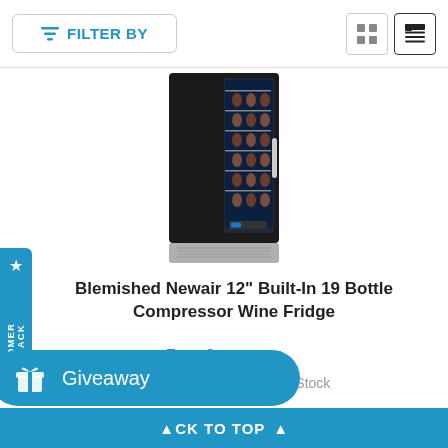FILTER BY
[Figure (photo): Blemished Newair 12-inch Built-In 19 Bottle Compressor Wine Fridge product photo showing a stainless steel wine refrigerator with glass door and wine bottles inside]
Blemished Newair 12" Built-In 19 Bottle Compressor Wine Fridge
Type: Compressor
$599.95  $256.99  Out of Stock
[Figure (other): 4.5 out of 5 stars rating displayed as orange star icons]
Giveaway
BACK TO TOP